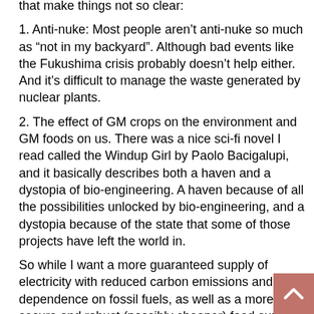that make things not so clear:
1. Anti-nuke: Most people aren't anti-nuke so much as "not in my backyard". Although bad events like the Fukushima crisis probably doesn't help either. And it's difficult to manage the waste generated by nuclear plants.
2. The effect of GM crops on the environment and GM foods on us. There was a nice sci-fi novel I read called the Windup Girl by Paolo Bacigalupi, and it basically describes both a haven and a dystopia of bio-engineering. A haven because of all the possibilities unlocked by bio-engineering, and a dystopia because of the state that some of those projects have left the world in.
So while I want a more guaranteed supply of electricity with reduced carbon emissions and dependence on fossil fuels, as well as a more secure and robust (possibly cheaper) food supply, it is difficult to support these two particular approaches whole-heartedly, though I